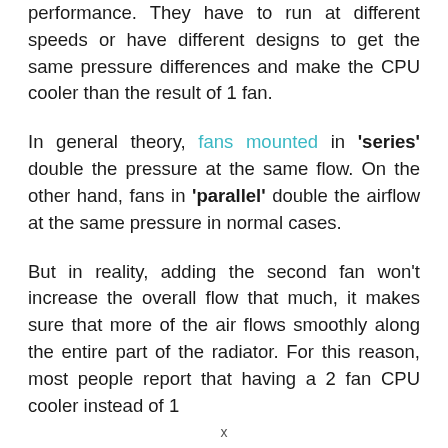performance. They have to run at different speeds or have different designs to get the same pressure differences and make the CPU cooler than the result of 1 fan.
In general theory, fans mounted in 'series' double the pressure at the same flow. On the other hand, fans in 'parallel' double the airflow at the same pressure in normal cases.
But in reality, adding the second fan won't increase the overall flow that much, it makes sure that more of the air flows smoothly along the entire part of the radiator. For this reason, most people report that having a 2 fan CPU cooler instead of 1
x